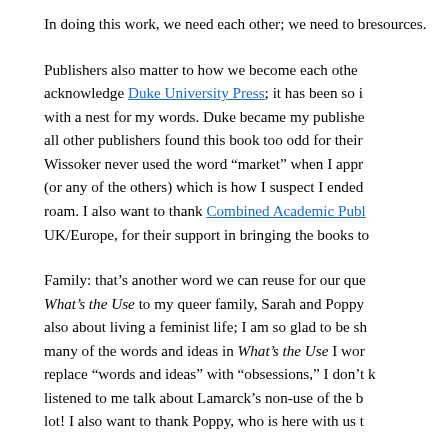In doing this work, we need each other; we need to b... resources.
Publishers also matter to how we become each othe... acknowledge Duke University Press; it has been so i... with a nest for my words. Duke became my publishe... all other publishers found this book too odd for their... Wissoker never used the word "market" when I appr... (or any of the others) which is how I suspect I ended... roam. I also want to thank Combined Academic Publ... UK/Europe, for their support in bringing the books to...
Family: that's another word we can reuse for our que... What's the Use to my queer family, Sarah and Poppy... also about living a feminist life; I am so glad to be sh... many of the words and ideas in What's the Use I wor... replace "words and ideas" with "obsessions," I don't k... listened to me talk about Lamarck's non-use of the b... lot! I also want to thank Poppy, who is here with us t...